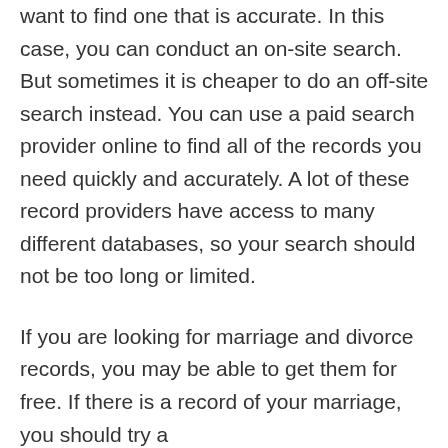want to find one that is accurate. In this case, you can conduct an on-site search. But sometimes it is cheaper to do an off-site search instead. You can use a paid search provider online to find all of the records you need quickly and accurately. A lot of these record providers have access to many different databases, so your search should not be too long or limited.
If you are looking for marriage and divorce records, you may be able to get them for free. If there is a record of your marriage, you should try a